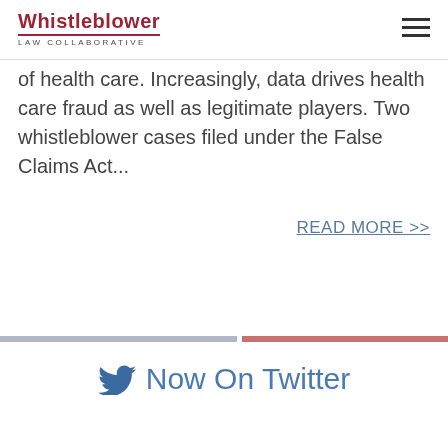Whistleblower LAW COLLABORATIVE
of health care. Increasingly, data drives health care fraud as well as legitimate players. Two whistleblower cases filed under the False Claims Act...
READ MORE >>
Now On Twitter